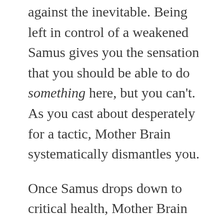against the inevitable. Being left in control of a weakened Samus gives you the sensation that you should be able to do something here, but you can't. As you cast about desperately for a tactic, Mother Brain systematically dismantles you.
Once Samus drops down to critical health, Mother Brain rears back for a final blow, and leans in for the strike –
[Figure (photo): Image placeholder labeled '140303-supermetroid190']
– only to be arrested in mid-attack by